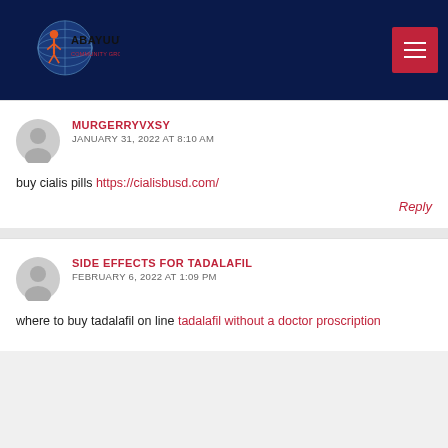ABAYUUTI COMMUNITY GROUP
MURGERRYVXSY
JANUARY 31, 2022 AT 8:10 AM
buy cialis pills https://cialisbusd.com/
Reply
SIDE EFFECTS FOR TADALAFIL
FEBRUARY 6, 2022 AT 1:09 PM
where to buy tadalafil on line tadalafil without a doctor proscription